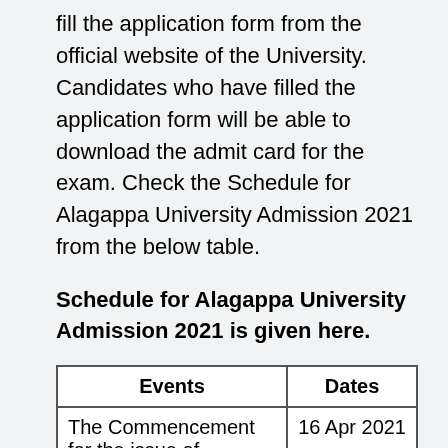fill the application form from the official website of the University. Candidates who have filled the application form will be able to download the admit card for the exam. Check the Schedule for Alagappa University Admission 2021 from the below table.
Schedule for Alagappa University Admission 2021 is given here.
| Events | Dates |
| --- | --- |
| The Commencement for the issue of Application | 16 Apr 2021 |
| Last date for submission of application through online |  |